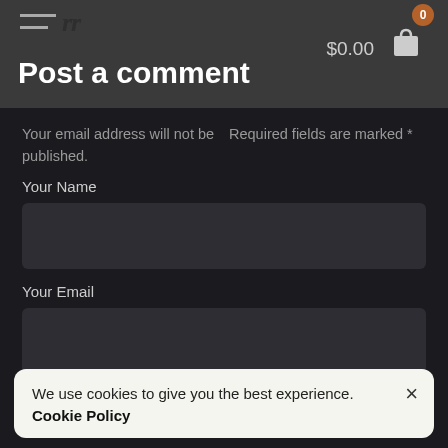Post a comment | $0.00
Your email address will not be published.
Required fields are marked *
Your Name
Your Email
We use cookies to give you the best experience. Cookie Policy